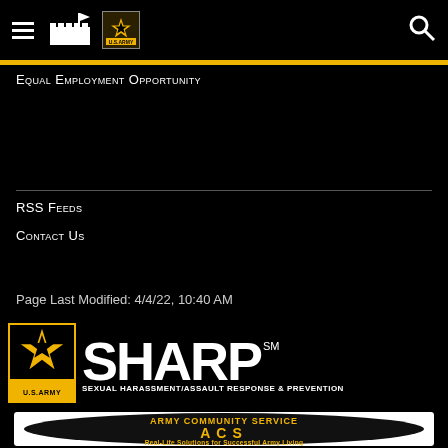[Figure (screenshot): Black navigation bar with hamburger menu, fort/castle icon, US Army star logo, and search magnifying glass icon on the right]
Equal Employment Opportunity
RSS Feeds
Contact Us
Page Last Modified: 4/4/22, 10:40 AM
[Figure (logo): US Army SHARP (Sexual Harassment/Assault Response & Prevention) logo — black background with large white SHARP text with a star, SM superscript, and US Army emblem on the left, subtitle reads SEXUAL HARASSMENT/ASSAULT RESPONSE & PREVENTION]
[Figure (logo): Army Community Service ACS logo — black oval with gold text reading ARMY COMMUNITY SERVICE, large gold ACS letters, and tagline Real-Life Solutions for Successful Army Living]